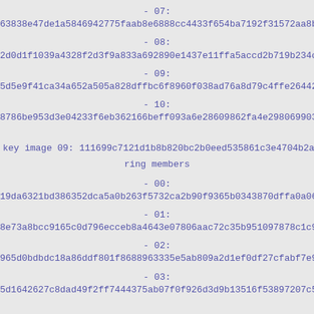- 07:
63838e47de1a5846942775faab8e6888cc4433f654ba7192f31572aa8b63
- 08:
2d0d1f1039a4328f2d3f9a833a692890e1437e11ffa5accd2b719b234cf4
- 09:
5d5e9f41ca34a652a505a828dffbc6f8960f038ad76a8d79c4ffe26442be
- 10:
8786be953d3e04233f6eb362166beff093a6e28609862fa4e298069903f9
key image 09: 111699c7121d1b8b820bc2b0eed535861c3e4704b2a97f3
ring members
- 00:
19da6321bd386352dca5a0b263f5732ca2b90f9365b0343870dffa0a061d
- 01:
8e73a8bcc9165c0d796ecceb8a4643e07806aac72c35b951097878c1c9a9
- 02:
965d0bdbdc18a86ddf801f8688963335e5ab809a2d1ef0df27cfabf7e91b4
- 03:
5d1642627c8dad49f2ff7444375ab07f0f926d3d9b13516f53897207c505